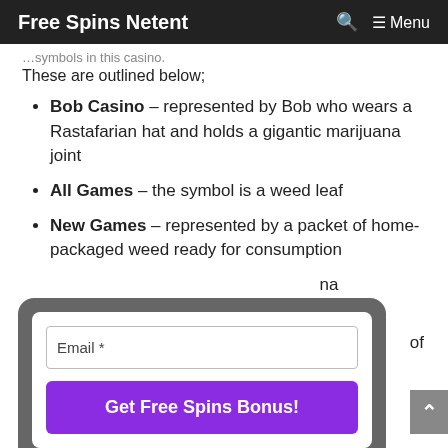Free Spins Netent  🔍 ≡ Menu
These are outlined below;
Bob Casino – represented by Bob who wears a Rastafarian hat and holds a gigantic marijuana joint
All Games – the symbol is a weed leaf
New Games – represented by a packet of home-packaged weed ready for consumption
[Figure (infographic): Email signup popup with 'Email *' input field and 'Get Free Spins Bonus!' purple CTA button, overlaid on the page content]
of